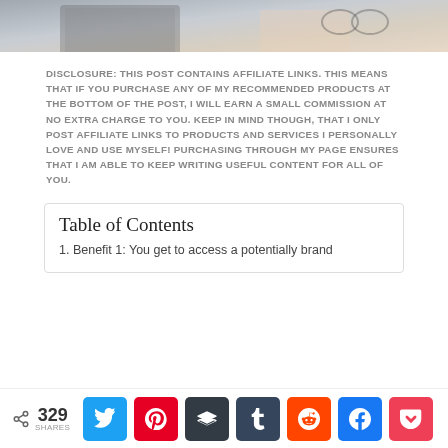[Figure (photo): Cropped top portion of a photo showing a laptop, notebooks, glasses, and desk items — a blogger/workspace scene]
DISCLOSURE: THIS POST CONTAINS AFFILIATE LINKS. THIS MEANS THAT IF YOU PURCHASE ANY OF MY RECOMMENDED PRODUCTS AT THE BOTTOM OF THE POST, I WILL EARN A SMALL COMMISSION AT NO EXTRA CHARGE TO YOU. KEEP IN MIND THOUGH, THAT I ONLY POST AFFILIATE LINKS TO PRODUCTS AND SERVICES I PERSONALLY LOVE AND USE MYSELF! PURCHASING THROUGH MY PAGE ENSURES THAT I AM ABLE TO KEEP WRITING USEFUL CONTENT FOR ALL OF YOU.
Table of Contents
1. Benefit 1: You get to access a potentially brand
329 SHARES